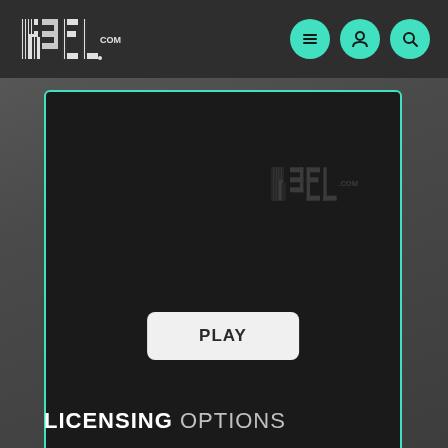[Figure (screenshot): R3EL.com website header with logo and navigation icons (menu, user, search) on dark background]
[Figure (screenshot): Video player area with teal border, R3EL.com watermark logo, PLAY button in center, folder and download icons at bottom]
LICENSING OPTIONS